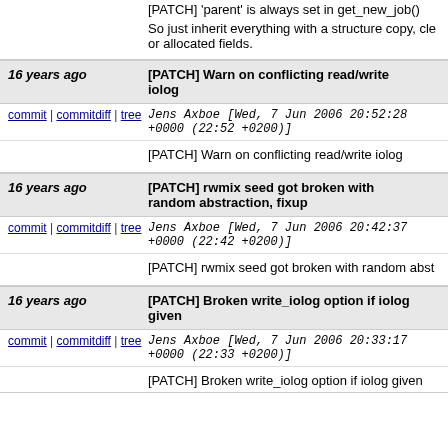[PATCH] 'parent' is always set in get_new_job()
So just inherit everything with a structure copy, cle or allocated fields.
16 years ago   [PATCH] Warn on conflicting read/write iolog
commit | commitdiff | tree   Jens Axboe [Wed, 7 Jun 2006 20:52:28 +0000 (22:52 +0200)]
[PATCH] Warn on conflicting read/write iolog
16 years ago   [PATCH] rwmix seed got broken with random abstraction, fixup
commit | commitdiff | tree   Jens Axboe [Wed, 7 Jun 2006 20:42:37 +0000 (22:42 +0200)]
[PATCH] rwmix seed got broken with random abst
16 years ago   [PATCH] Broken write_iolog option if iolog given
commit | commitdiff | tree   Jens Axboe [Wed, 7 Jun 2006 20:33:17 +0000 (22:33 +0200)]
[PATCH] Broken write_iolog option if iolog given